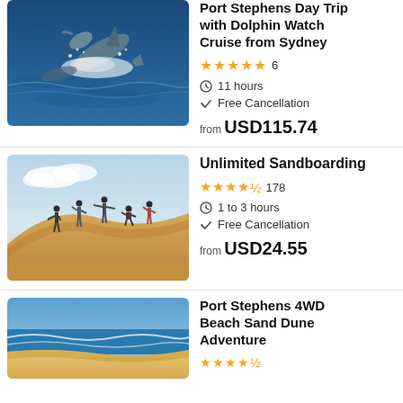[Figure (photo): Dolphin jumping out of dark blue ocean water with splashes]
Port Stephens Day Trip with Dolphin Watch Cruise from Sydney
★★★★★ 6 | 11 hours | Free Cancellation | from USD115.74
[Figure (photo): Group of people sandboarding on large sand dunes at sunset]
Unlimited Sandboarding
★★★★½ 178 | 1 to 3 hours | Free Cancellation | from USD24.55
[Figure (photo): Sandy beach with blue ocean waves and clear sky]
Port Stephens 4WD Beach Sand Dune Adventure